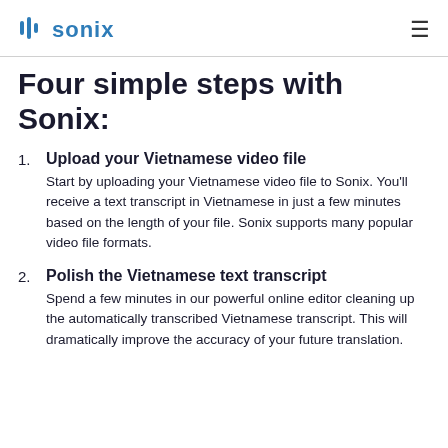sonix
Four simple steps with Sonix:
Upload your Vietnamese video file
Start by uploading your Vietnamese video file to Sonix. You'll receive a text transcript in Vietnamese in just a few minutes based on the length of your file. Sonix supports many popular video file formats.
Polish the Vietnamese text transcript
Spend a few minutes in our powerful online editor cleaning up the automatically transcribed Vietnamese transcript. This will dramatically improve the accuracy of your future translation.